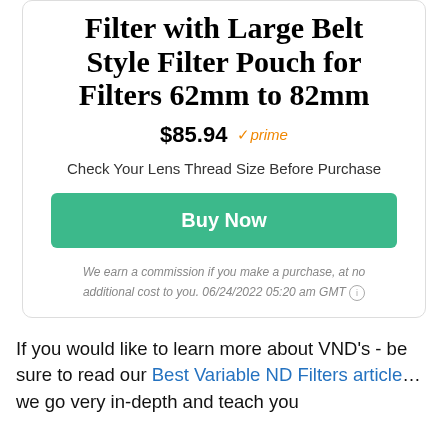Filter with Large Belt Style Filter Pouch for Filters 62mm to 82mm
$85.94  ✓prime
Check Your Lens Thread Size Before Purchase
Buy Now
We earn a commission if you make a purchase, at no additional cost to you. 06/24/2022 05:20 am GMT ⓘ
If you would like to learn more about VND's - be sure to read our Best Variable ND Filters article… we go very in-depth and teach you